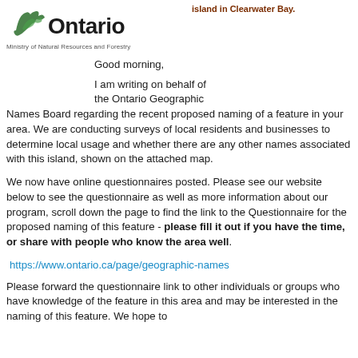[Figure (logo): Ontario Ministry of Natural Resources and Forestry logo with trillium/bird symbol and 'Ontario' wordmark]
Ministry of Natural Resources and Forestry
island in Clearwater Bay.
Good morning,
I am writing on behalf of the Ontario Geographic Names Board regarding the recent proposed naming of a feature in your area.  We are conducting surveys of local residents and businesses to determine local usage and whether there are any other names associated with this island, shown on the attached map.
We now have online questionnaires posted.  Please see our website below to see the questionnaire as well as more information about our program, scroll down the page to find the link to the Questionnaire for the proposed naming of this feature - please fill it out if you have the time, or share with people who know the area well.
https://www.ontario.ca/page/geographic-names
Please forward the questionnaire link to other individuals or groups who have knowledge of the feature in this area and may be interested in the naming of this feature. We hope to